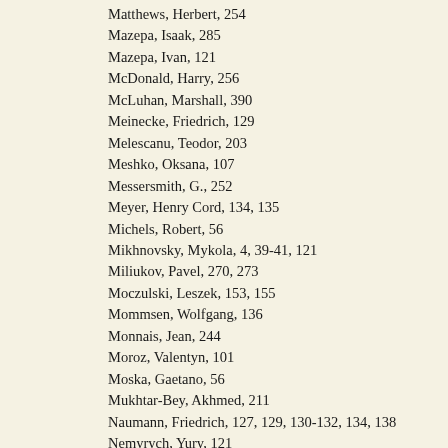Matthews, Herbert, 254
Mazepa, Isaak, 285
Mazepa, Ivan, 121
McDonald, Harry, 256
McLuhan, Marshall, 390
Meinecke, Friedrich, 129
Melescanu, Teodor, 203
Meshko, Oksana, 107
Messersmith, G., 252
Meyer, Henry Cord, 134, 135
Michels, Robert, 56
Mikhnovsky, Mykola, 4, 39-41, 121
Miliukov, Pavel, 270, 273
Moczulski, Leszek, 153, 155
Mommsen, Wolfgang, 136
Monnais, Jean, 244
Moroz, Valentyn, 101
Moska, Gaetano, 56
Mukhtar-Bey, Akhmed, 211
Naumann, Friedrich, 127, 129, 130-132, 134, 138
Nemyrych, Yury, 121
Nicholas I, 333
Nicholas II, 268, 271
Nietzsche, Friedrich, 43, 45, 324
Nistor, Ion, 193, 196, 199